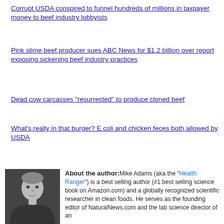Corrupt USDA conspired to funnel hundreds of millions in taxpayer money to beef industry lobbyists
Pink slime beef producer sues ABC News for $1.2 billion over report exposing sickening beef industry practices
Dead cow carcasses "resurrected" to produce cloned beef
What's really in that burger? E.coli and chicken feces both allowed by USDA
[Figure (photo): Black and white headshot photo of Mike Adams (Health Ranger), a middle-aged man with short gray/white hair]
About the author: Mike Adams (aka the "Health Ranger") is a best selling author (#1 best selling science book on Amazon.com) and a globally recognized scientific researcher in clean foods. He serves as the founding editor of NaturalNews.com and the lab science director of an